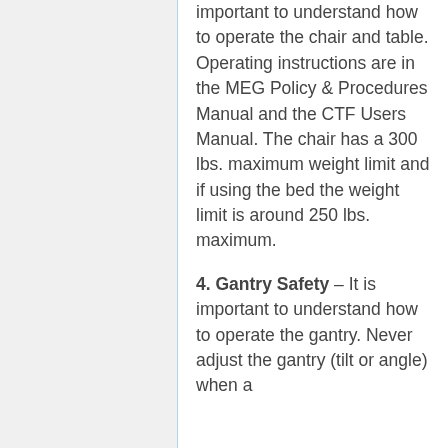important to understand how to operate the chair and table. Operating instructions are in the MEG Policy & Procedures Manual and the CTF Users Manual. The chair has a 300 lbs. maximum weight limit and if using the bed the weight limit is around 250 lbs. maximum.
4. Gantry Safety – It is important to understand how to operate the gantry. Never adjust the gantry (tilt or angle) when a